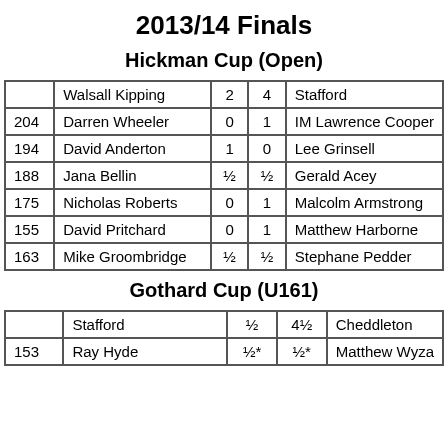2013/14 Finals
Hickman Cup (Open)
|  | Player | Score | Score | Opponent |
| --- | --- | --- | --- | --- |
|  | Walsall Kipping | 2 | 4 | Stafford |
| 204 | Darren Wheeler | 0 | 1 | IM Lawrence Cooper |
| 194 | David Anderton | 1 | 0 | Lee Grinsell |
| 188 | Jana Bellin | ½ | ½ | Gerald Acey |
| 175 | Nicholas Roberts | 0 | 1 | Malcolm Armstrong |
| 155 | David Pritchard | 0 | 1 | Matthew Harborne |
| 163 | Mike Groombridge | ½ | ½ | Stephane Pedder |
Gothard Cup (U161)
|  | Player | Score | Score | Opponent |
| --- | --- | --- | --- | --- |
|  | Stafford | ½ | 4½ | Cheddleton |
| 153 | Ray Hyde | ½* | ½* | Matthew Wyza |